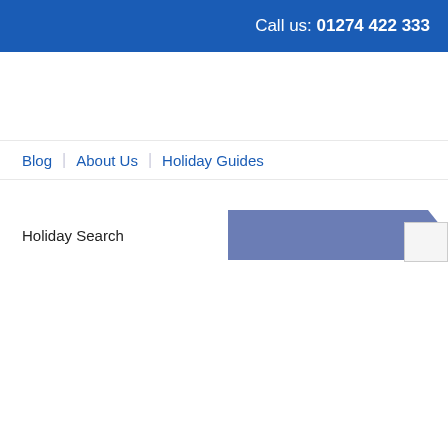Call us: 01274 422 333
Blog | About Us | Holiday Guides
Holiday Search